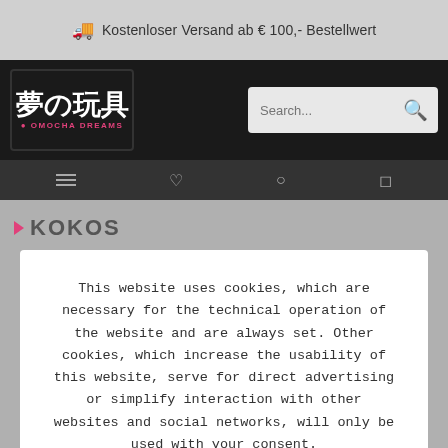Kostenloser Versand ab € 100,- Bestellwert
[Figure (logo): Omocha Dreams logo with Japanese kanji characters 夢の玩具 and subtitle OMOCHA DREAMS in pink]
This website uses cookies, which are necessary for the technical operation of the website and are always set. Other cookies, which increase the usability of this website, serve for direct advertising or simplify interaction with other websites and social networks, will only be used with your consent.
Configure
Accept all